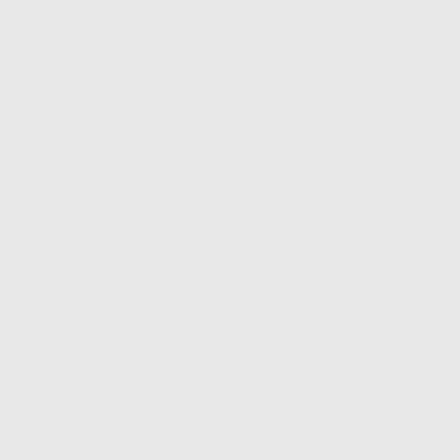| User | Content |
| --- | --- |
| CyrilSwomb
Guest | 06.08.2021 01:12 |
| Carlfub
Guest | 06.08.2021 17:34 |
| Lisafub
Guest | 07.08.2021 01:25 |
| Lisafub
Guest | 07.08.2021 05:31 |
| Carlfub
Guest | 10.08.2021 23:23 |
| ErichHiz
Guest |  |